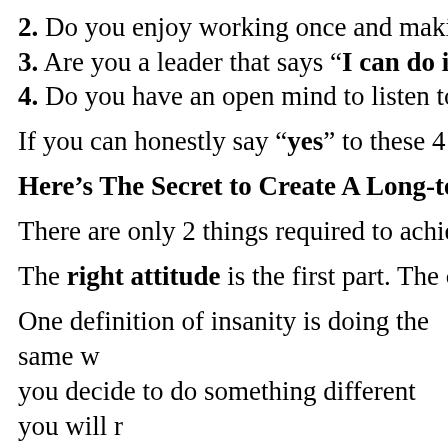2. Do you enjoy working once and making mor
3. Are you a leader that says “I can do it” inste
4. Do you have an open mind to listen to new c
If you can honestly say “yes” to these 4 questio
Here’s The Secret to Create A Long-term R
There are only 2 things required to achieving f
The right attitude is the first part. The other
One definition of insanity is doing the same w you decide to do something different you will r create wealth, achieve financial independence can guarantee you that if you put this aside to
Let me show you the system that has already can do the same for you!
The system is called as Pure Passive Income